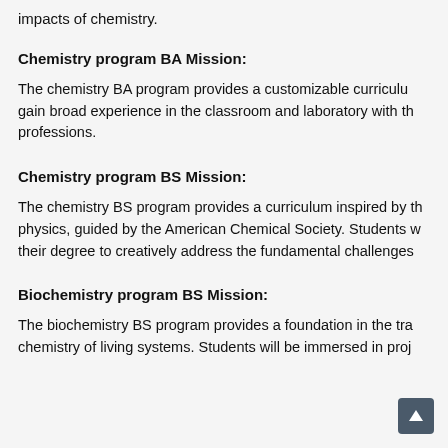impacts of chemistry.
Chemistry program BA Mission:
The chemistry BA program provides a customizable curriculum to gain broad experience in the classroom and laboratory with the professions.
Chemistry program BS Mission:
The chemistry BS program provides a curriculum inspired by the physics, guided by the American Chemical Society. Students will their degree to creatively address the fundamental challenges
Biochemistry program BS Mission:
The biochemistry BS program provides a foundation in the traditional chemistry of living systems. Students will be immersed in proj